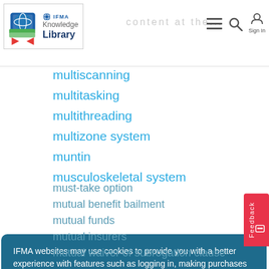IFMA Knowledge Library
multiscanning
multitasking
multithreading
multizone system
muntin
musculoskeletal system
must-take option
mutual benefit bailment
mutual funds
mutual insurers
mutual waiver of subrogation clause
> N
> O
> P
> Q
IFMA websites may use cookies to provide you with a better experience with features such as logging in, making purchases and remembering your preferences. By using our websites, you agree to our use of cookies. Learn more
Accept